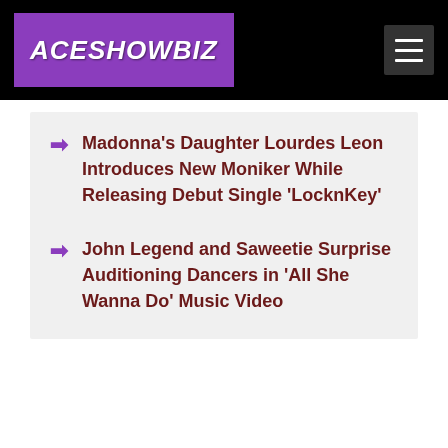ACESHOWBIZ
Madonna's Daughter Lourdes Leon Introduces New Moniker While Releasing Debut Single 'LocknKey'
John Legend and Saweetie Surprise Auditioning Dancers in 'All She Wanna Do' Music Video